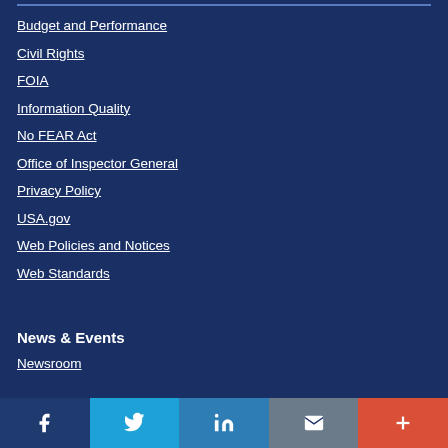Budget and Performance
Civil Rights
FOIA
Information Quality
No FEAR Act
Office of Inspector General
Privacy Policy
USA.gov
Web Policies and Notices
Web Standards
News & Events
Newsroom